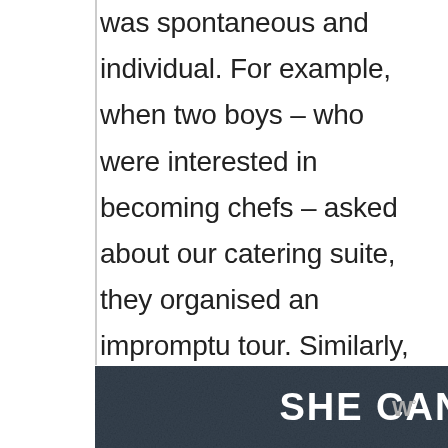was spontaneous and individual. For example, when two boys – who were interested in becoming chefs – asked about our catering suite, they organised an impromptu tour. Similarly, a group of creativity enthusiasts were shown the impressive displays in the school's art barn. This kind of immediate feedback was a feature of the day and truly catered for individual needs. The organisation of this event
[Figure (logo): SHE CAN STEM banner with dark background and bold white text, with a small logo to the right]